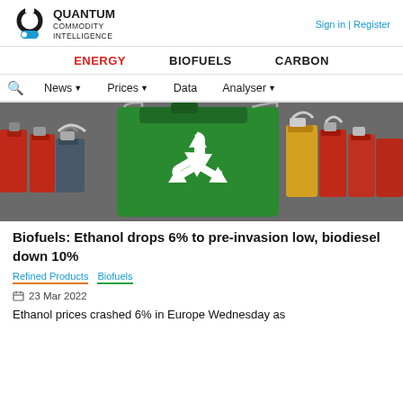QUANTUM COMMODITY INTELLIGENCE | Sign in | Register
ENERGY  BIOFUELS  CARBON
News  Prices  Data  Analyser
[Figure (photo): Photo of a green jerry can with a white recycling symbol, surrounded by colorful metal canisters and containers]
Biofuels: Ethanol drops 6% to pre-invasion low, biodiesel down 10%
Refined Products  Biofuels
23 Mar 2022
Ethanol prices crashed 6% in Europe Wednesday as